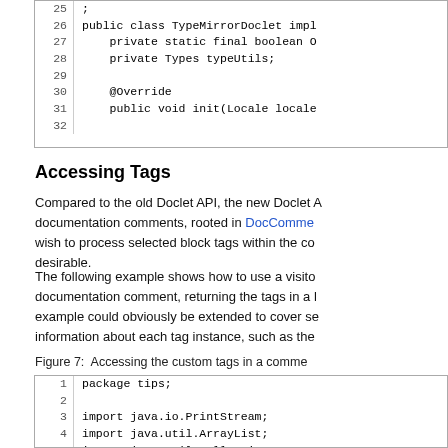[Figure (screenshot): Code block showing lines 25-32 of Java source: public class TypeMirrorDoclet impl..., private static final boolean O..., private Types typeUtils;, blank line, @Override, public void init(Locale locale..., blank line]
Accessing Tags
Compared to the old Doclet API, the new Doclet A documentation comments, rooted in DocComme wish to process selected block tags within the co desirable.
The following example shows how to use a visito documentation comment, returning the tags in a l example could obviously be extended to cover se information about each tag instance, such as the
Figure 7:  Accessing the custom tags in a comme
[Figure (screenshot): Code block showing lines 1-5 of Java source: package tips;, blank, import java.io.PrintStream;, import java.util.ArrayList;, import java.util.Collections;]